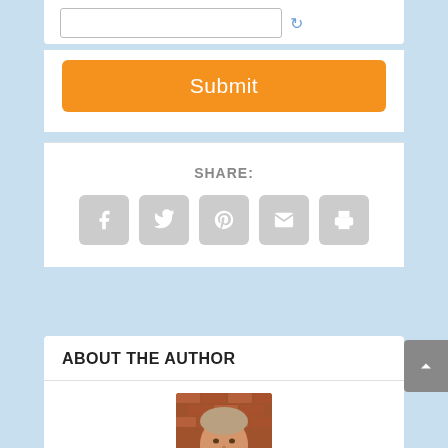[Figure (screenshot): Text input box with refresh/captcha icon to the right]
[Figure (other): Orange Submit button]
SHARE:
[Figure (other): Social share icons: Facebook, Twitter, Pinterest, Email, Print]
ABOUT THE AUTHOR
[Figure (photo): Author photo: middle-aged man with gray beard, smiling, in front of brick wall]